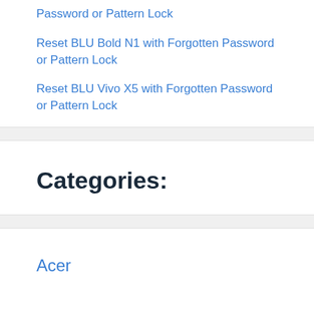Password or Pattern Lock
Reset BLU Bold N1 with Forgotten Password or Pattern Lock
Reset BLU Vivo X5 with Forgotten Password or Pattern Lock
Categories:
Acer